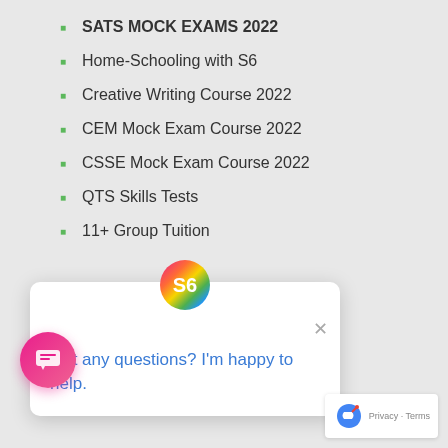SATS MOCK EXAMS 2022
Home-Schooling with S6
Creative Writing Course 2022
CEM Mock Exam Course 2022
CSSE Mock Exam Course 2022
QTS Skills Tests
11+ Group Tuition
[Figure (screenshot): Chat widget popup with S6 logo and message: Got any questions? I'm happy to help.]
Year 6 Maths Masterclass
7+ Tuition
[Figure (logo): reCAPTCHA badge with Privacy and Terms links]